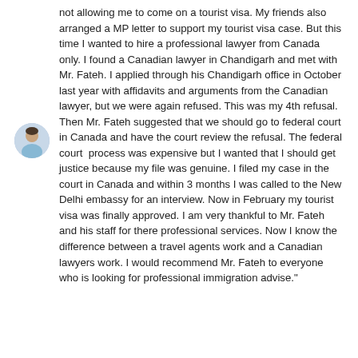[Figure (photo): Circular avatar photo of a man in a light blue shirt, positioned to the left of the review text]
not allowing me to come on a tourist visa. My friends also arranged a MP letter to support my tourist visa case. But this time I wanted to hire a professional lawyer from Canada only. I found a Canadian lawyer in Chandigarh and met with Mr. Fateh. I applied through his Chandigarh office in October last year with affidavits and arguments from the Canadian lawyer, but we were again refused. This was my 4th refusal. Then Mr. Fateh suggested that we should go to federal court in Canada and have the court review the refusal. The federal court  process was expensive but I wanted that I should get justice because my file was genuine. I filed my case in the court in Canada and within 3 months I was called to the New Delhi embassy for an interview. Now in February my tourist visa was finally approved. I am very thankful to Mr. Fateh and his staff for there professional services. Now I know the difference between a travel agents work and a Canadian lawyers work. I would recommend Mr. Fateh to everyone who is looking for professional immigration advise."